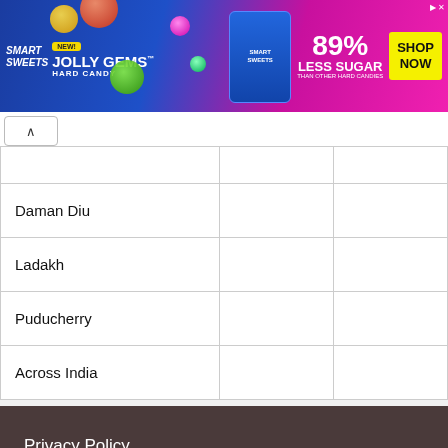[Figure (other): Smart Sweets Jolly Gems Hard Candy advertisement banner. Blue and pink background with candy images. Text: NEW! JOLLY GEMS HARD CANDY, 89% LESS SUGAR THAN OTHER HARD CANDIES, SHOP NOW. Ad icon top right.]
|  |  |  |
| Daman Diu |  |  |
| Ladakh |  |  |
| Puducherry |  |  |
| Across India |  |  |
Privacy Policy
Terms and Conditions
RRB Jobs © 2022